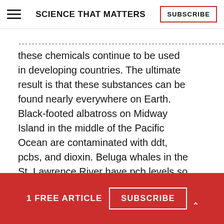SCIENCE THAT MATTERS  SUBSCRIBE
these chemicals continue to be used in developing countries. The ultimate result is that these substances can be found nearly everywhere on Earth. Black-footed albatross on Midway Island in the middle of the Pacific Ocean are contaminated with ddt, pcbs, and dioxin. Beluga whales in the St. Lawrence River have pcb levels so high they must be treated as hazardous waste when they die. Even
1 FREE ARTICLE  SUBSCRIBE